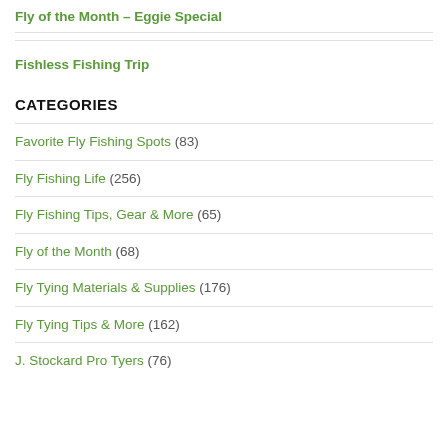Fly of the Month – Eggie Special
Fishless Fishing Trip
CATEGORIES
Favorite Fly Fishing Spots (83)
Fly Fishing Life (256)
Fly Fishing Tips, Gear & More (65)
Fly of the Month (68)
Fly Tying Materials & Supplies (176)
Fly Tying Tips & More (162)
J. Stockard Pro Tyers (76)